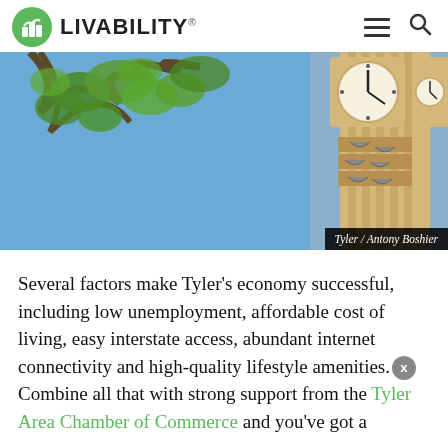LIVABILITY
[Figure (photo): A clock tower with bells against a blue sky with tree branches visible on the left side. Photo credit: Tyler / Antony Boshier]
Tyler / Antony Boshier
Several factors make Tyler's economy successful, including low unemployment, affordable cost of living, easy interstate access, abundant internet connectivity and high-quality lifestyle amenities. Combine all that with strong support from the Tyler Area Chamber of Commerce and you've got a...